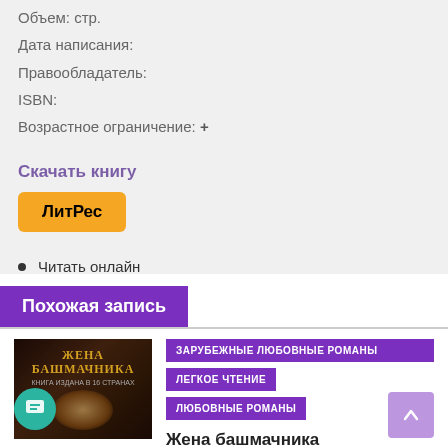Объем: стр.
Дата написания:
Правообладатель:
ISBN:
Возрастное ограничение: +
Скачать книгу
ЛитРес
Читать онлайн
Похожая запись
[Figure (photo): Book cover for Жена башмачника (Wife of the Shoemaker), dark brown tones with gold text]
ЗАРУБЕЖНЫЕ ЛЮБОВНЫЕ РОМАНЫ
ЛЕГКОЕ ЧТЕНИЕ
ЛЮБОВНЫЕ РОМАНЫ
Жена башмачника